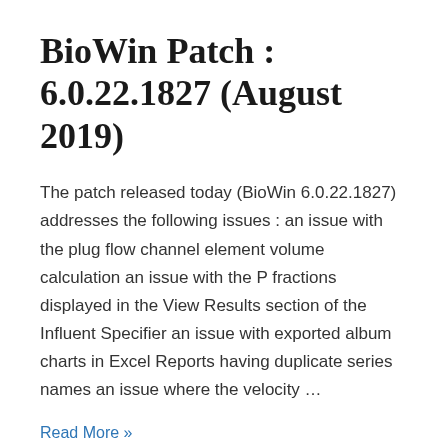BioWin Patch : 6.0.22.1827 (August 2019)
The patch released today (BioWin 6.0.22.1827) addresses the following issues : an issue with the plug flow channel element volume calculation an issue with the P fractions displayed in the View Results section of the Influent Specifier an issue with exported album charts in Excel Reports having duplicate series names an issue where the velocity …
Read More »
BioWin Patch : 5.3.0.1214 (December 2018)